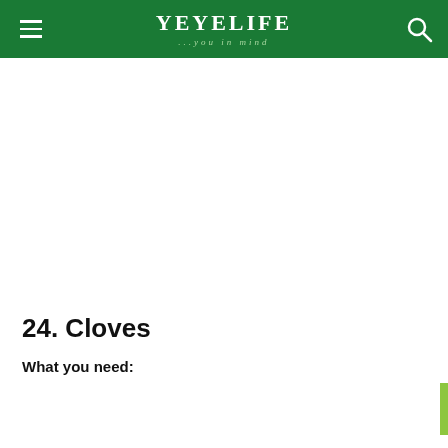YEYELIFE ...you in mind
24. Cloves
What you need: